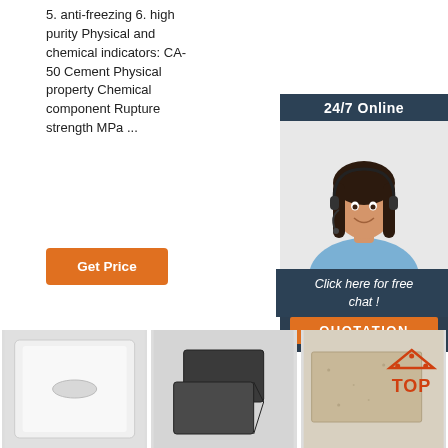5. anti-freezing 6. high purity Physical and chemical indicators: CA-50 Cement Physical property Chemical component Rupture strength MPa ...
[Figure (illustration): Orange 'Get Price' button]
[Figure (illustration): Sidebar with '24/7 Online' header, customer service representative photo, 'Click here for free chat!' text, and orange QUOTATION button]
[Figure (photo): White foam/refractory brick with oval indent]
[Figure (photo): Dark grey/black bricks stacked]
[Figure (photo): Beige/tan textured brick with TOP logo overlay]